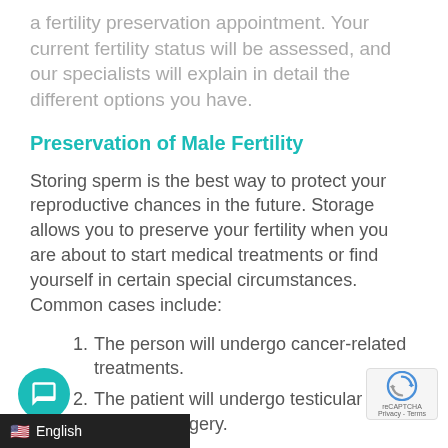a fertility preservation appointment. Your current fertility status will be assessed, and our specialists will explain in detail the different options you have.
Preservation of Male Fertility
Storing sperm is the best way to protect your reproductive chances in the future. Storage allows you to preserve your fertility when you are about to start medical treatments or find yourself in certain special circumstances. Common cases include:
The person will undergo cancer-related treatments.
The patient will undergo testicular or prostate surgery.
The individual wishes to store a sperm sample before having a vasectomy.